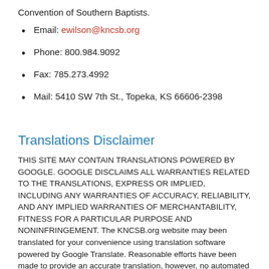Convention of Southern Baptists.
Email: ewilson@kncsb.org
Phone: 800.984.9092
Fax: 785.273.4992
Mail: 5410 SW 7th St., Topeka, KS 66606-2398
Translations Disclaimer
THIS SITE MAY CONTAIN TRANSLATIONS POWERED BY GOOGLE. GOOGLE DISCLAIMS ALL WARRANTIES RELATED TO THE TRANSLATIONS, EXPRESS OR IMPLIED, INCLUDING ANY WARRANTIES OF ACCURACY, RELIABILITY, AND ANY IMPLIED WARRANTIES OF MERCHANTABILITY, FITNESS FOR A PARTICULAR PURPOSE AND NONINFRINGEMENT. The KNCSB.org website may been translated for your convenience using translation software powered by Google Translate. Reasonable efforts have been made to provide an accurate translation, however, no automated translation is perfect nor is it intended to replace human translators. Translations are provided as a service to users of the KNCSB.org website, and are provided “as is.” No warranty of any kind, either expressed or implied, is made as to the accuracy, reliability, or correctness of any translations made from English into any other language. Some content (such as images, videos, Flash, etc.) may not